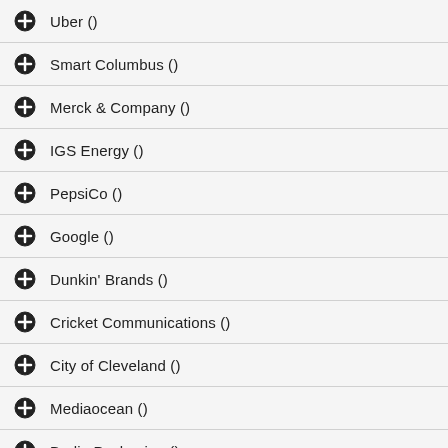Uber ()
Smart Columbus ()
Merck & Company ()
IGS Energy ()
PepsiCo ()
Google ()
Dunkin' Brands ()
Cricket Communications ()
City of Cleveland ()
Mediaocean ()
Berlin Packaging ()